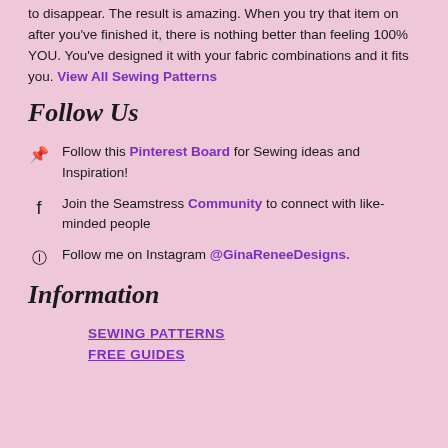to disappear. The result is amazing. When you try that item on after you've finished it, there is nothing better than feeling 100% YOU. You've designed it with your fabric combinations and it fits you. View All Sewing Patterns
Follow Us
Follow this Pinterest Board for Sewing ideas and Inspiration!
Join the Seamstress Community to connect with like-minded people
Follow me on Instagram @GinaReneeDesigns.
Information
SEWING PATTERNS
FREE GUIDES